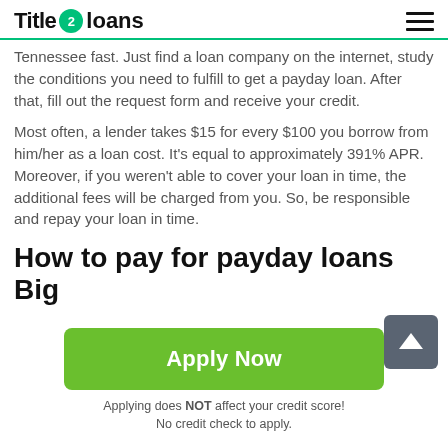Title 2 loans
Tennessee fast. Just find a loan company on the internet, study the conditions you need to fulfill to get a payday loan. After that, fill out the request form and receive your credit.
Most often, a lender takes $15 for every $100 you borrow from him/her as a loan cost. It's equal to approximately 391% APR. Moreover, if you weren't able to cover your loan in time, the additional fees will be charged from you. So, be responsible and repay your loan in time.
How to pay for payday loans Big
Apply Now
Applying does NOT affect your credit score!
No credit check to apply.